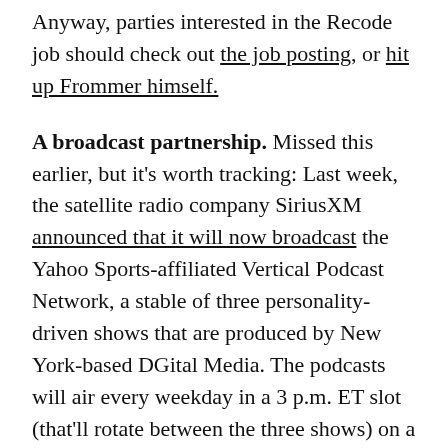Anyway, parties interested in the Recode job should check out the job posting, or hit up Frommer himself.
A broadcast partnership. Missed this earlier, but it’s worth tracking: Last week, the satellite radio company SiriusXM announced that it will now broadcast the Yahoo Sports-affiliated Vertical Podcast Network, a stable of three personality-driven shows that are produced by New York-based DGital Media. The podcasts will air every weekday in a 3 p.m. ET slot (that’ll rotate between the three shows) on a few SiriusXM channels, along with in the SiriusXM app. Broadcast began last Monday.